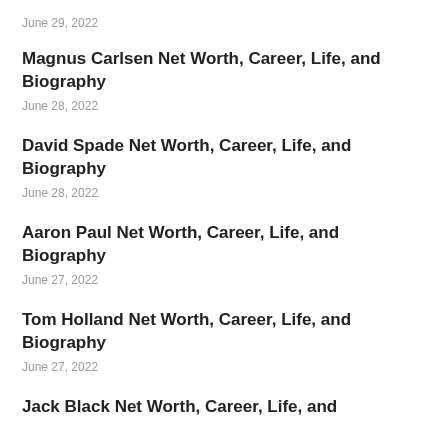June 29, 2022
Magnus Carlsen Net Worth, Career, Life, and Biography
June 28, 2022
David Spade Net Worth, Career, Life, and Biography
June 28, 2022
Aaron Paul Net Worth, Career, Life, and Biography
June 27, 2022
Tom Holland Net Worth, Career, Life, and Biography
June 27, 2022
Jack Black Net Worth, Career, Life, and